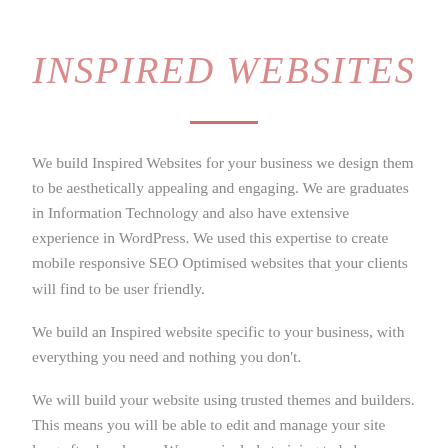INSPIRED WEBSITES
We build Inspired Websites for your business we design them to be aesthetically appealing and engaging. We are graduates in Information Technology and also have extensive experience in WordPress. We used this expertise to create mobile responsive SEO Optimised websites that your clients will find to be user friendly.
We build an Inspired website specific to your business, with everything you need and nothing you don't.
We will build your website using trusted themes and builders. This means you will be able to edit and manage your site long after hand over. We even include training to help you